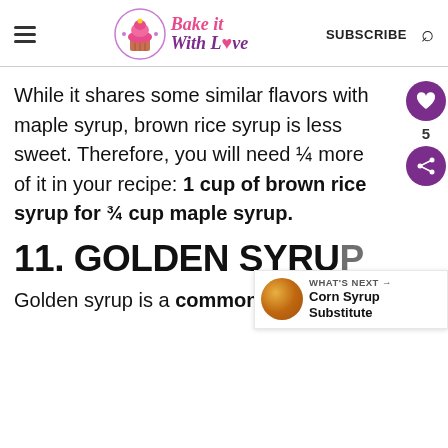Bake it With Love — SUBSCRIBE
While it shares some similar flavors with maple syrup, brown rice syrup is less sweet. Therefore, you will need ¼ more of it in your recipe: 1 cup of brown rice syrup for ¾ cup maple syrup.
11. GOLDEN SYRU
Golden syrup is a common